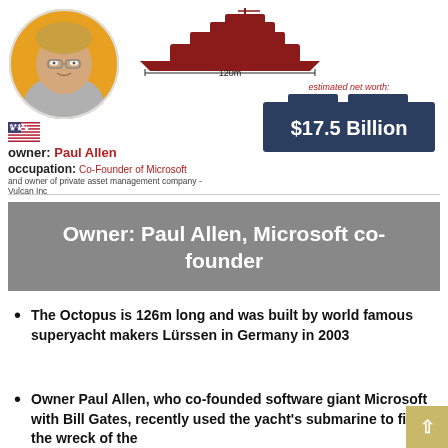[Figure (photo): Circular portrait photo of Paul Allen, middle-aged man with glasses and light hair, on a yellow/orange background]
[Figure (infographic): Red silhouette of a large superyacht (Octopus) with a horizontal line beneath it labeled 120m]
[Figure (infographic): Dark navy box showing estimated net worth: $17.5 Billion]
owner: Paul Allen
occupation: Co-Founder of Microsoft and owner of private asset management company - Vulcan Inc
Owner: Paul Allen, Microsoft co-founder
The Octopus is 126m long and was built by world famous superyacht makers Lürssen in Germany in 2003
Owner Paul Allen, who co-founded software giant Microsoft with Bill Gates, recently used the yacht's submarine to find the wreck of the